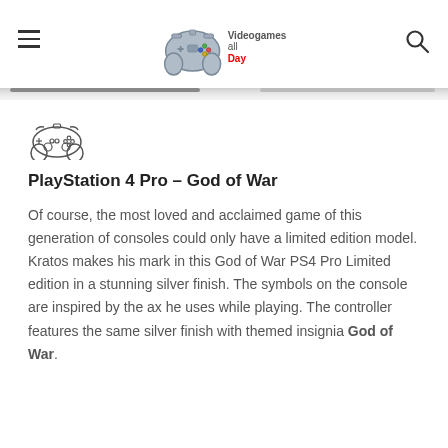Videogames all Day — navigation header with logo
[Figure (illustration): Small game controller icon outline drawing]
PlayStation 4 Pro – God of War
Of course, the most loved and acclaimed game of this generation of consoles could only have a limited edition model. Kratos makes his mark in this God of War PS4 Pro Limited edition in a stunning silver finish. The symbols on the console are inspired by the ax he uses while playing. The controller features the same silver finish with themed insignia God of War.